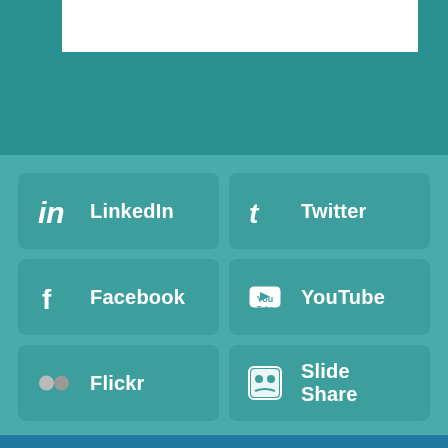[Figure (screenshot): Top teal section with a white bar partially visible]
LinkedIn
Twitter
Facebook
YouTube
Flickr
Slide Share
Our websites use cookies to offer you a better browsing experience and analyze site traffic. By using our websites, you consent to our use of cookies.
Got it
More info